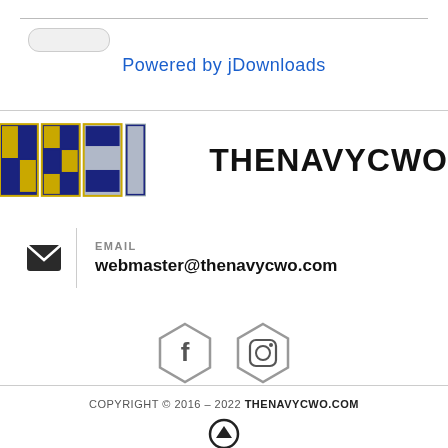Powered by jDownloads
[Figure (logo): THENAVYCWO logo with navy signal flag style graphic and bold text]
EMAIL
webmaster@thenavycwo.com
[Figure (illustration): Facebook and Instagram social media icons in hexagon outlines]
COPYRIGHT © 2016 – 2022 THENAVYCWO.COM
[Figure (illustration): Back to top arrow circle icon]